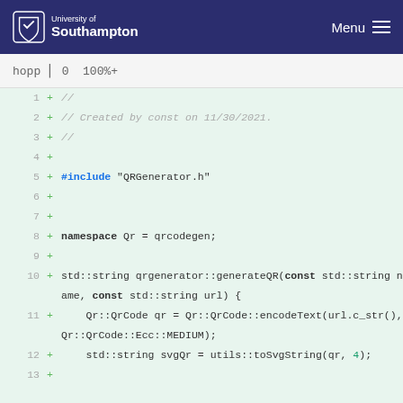University of Southampton | Menu
hopp [icon] 0  100%+
[Figure (screenshot): Code diff view showing lines 1-13 of a C++ file. Lines show: 1-3: // comment block (Created by const on 11/30/2021), 4: empty, 5: #include "QRGenerator.h", 6-7: empty, 8: namespace Qr = qrcodegen;, 9: empty, 10: std::string qrgenerator::generateQR(const std::string name, const std::string url) {, 11: Qr::QrCode qr = Qr::QrCode::encodeText(url.c_str(), Qr::QrCode::Ecc::MEDIUM);, 12: std::string svgQr = utils::toSvgString(qr, 4);, 13: +]